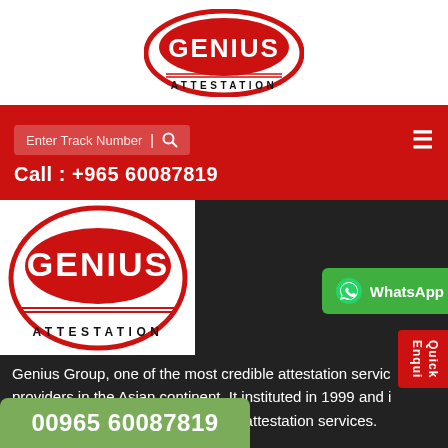[Figure (logo): Genius Attestation logo — red oval with white GENIUS text and black ATTESTATION text]
Enter Track Number | 🔍
☰
Call : +965 60087819
[Figure (logo): Genius Attestation logo on dark background — red oval with white GENIUS text and black ATTESTATION text]
WhatsApp
Quick Enqui
Genius Group, one of the most credible attestation service providers in the Asian continent. It instituted in 1999 and it was a new milestone in the field of attestation services.
Read more
00965 60087819